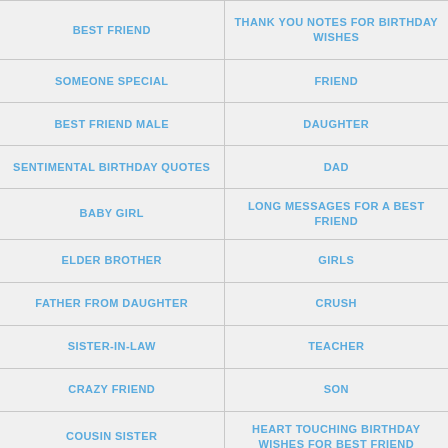| Column 1 | Column 2 |
| --- | --- |
| BEST FRIEND | THANK YOU NOTES FOR BIRTHDAY WISHES |
| SOMEONE SPECIAL | FRIEND |
| BEST FRIEND MALE | DAUGHTER |
| SENTIMENTAL BIRTHDAY QUOTES | DAD |
| BABY GIRL | LONG MESSAGES FOR A BEST FRIEND |
| ELDER BROTHER | GIRLS |
| FATHER FROM DAUGHTER | CRUSH |
| SISTER-IN-LAW | TEACHER |
| CRAZY FRIEND | SON |
| COUSIN SISTER | HEART TOUCHING BIRTHDAY WISHES FOR BEST FRIEND |